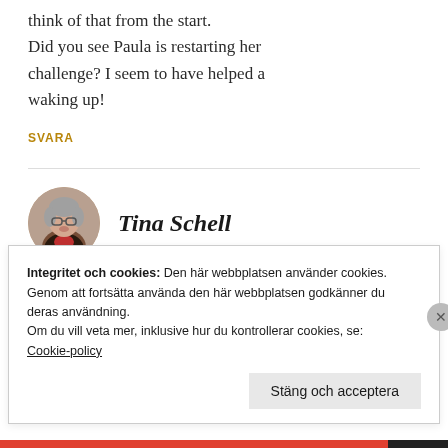think of that from the start. Did you see Paula is restarting her challenge? I seem to have helped a waking up!
SVARA
[Figure (photo): Circular portrait photo of Tina Schell, a woman with short gray hair and glasses, wearing a red top.]
Tina Schell
Integritet och cookies: Den här webbplatsen använder cookies. Genom att fortsätta använda den här webbplatsen godkänner du deras användning. Om du vill veta mer, inklusive hur du kontrollerar cookies, se: Cookie-policy
Stäng och acceptera